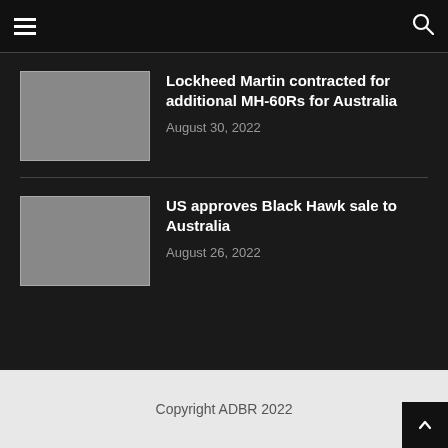Lockheed Martin contracted for additional MH-60Rs for Australia
August 30, 2022
US approves Black Hawk sale to Australia
August 26, 2022
Copyright ADBR 2022